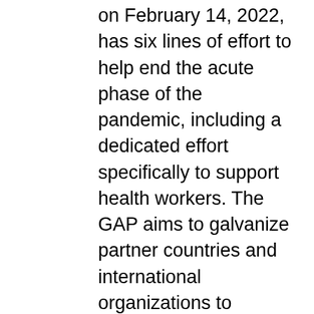on February 14, 2022, has six lines of effort to help end the acute phase of the pandemic, including a dedicated effort specifically to support health workers. The GAP aims to galvanize partner countries and international organizations to decrease risks posed by COVID-19 by increasing vaccine and treatment availability, encouraging vaccine uptake, addressing workplace safety, and health worker training.
Provide tools and resources for health workers responding to COVID-19 while ensuring delivery of primary health services. Ongoing U.S. Government programming is adapting to account for the pandemic. For example, PMI trains